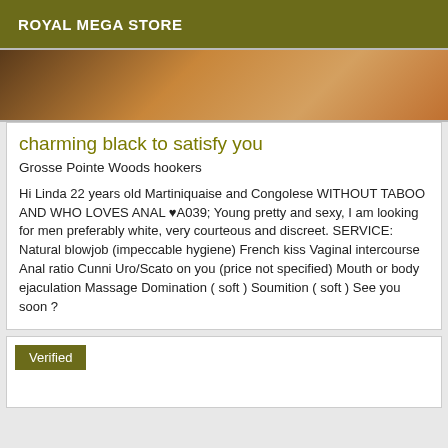ROYAL MEGA STORE
[Figure (photo): Close-up photo of wooden surface with warm brown and orange tones]
charming black to satisfy you
Grosse Pointe Woods hookers
Hi Linda 22 years old Martiniquaise and Congolese WITHOUT TABOO AND WHO LOVES ANAL ❤A039; Young pretty and sexy, I am looking for men preferably white, very courteous and discreet. SERVICE: Natural blowjob (impeccable hygiene) French kiss Vaginal intercourse Anal ratio Cunni Uro/Scato on you (price not specified) Mouth or body ejaculation Massage Domination ( soft ) Soumition ( soft ) See you soon ?
Verified